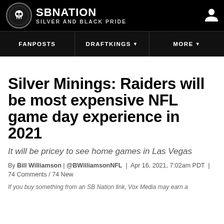SB NATION | SILVER AND BLACK PRIDE
FANPOSTS | DRAFTKINGS | MORE
Silver Minings: Raiders will be most expensive NFL game day experience in 2021
It will be pricey to see home games in Las Vegas
By Bill Williamson | @BWilliamsonNFL | Apr 16, 2021, 7:02am PDT | 74 Comments / 74 New
If you buy something from an SB Nation link, Vox Media may earn a